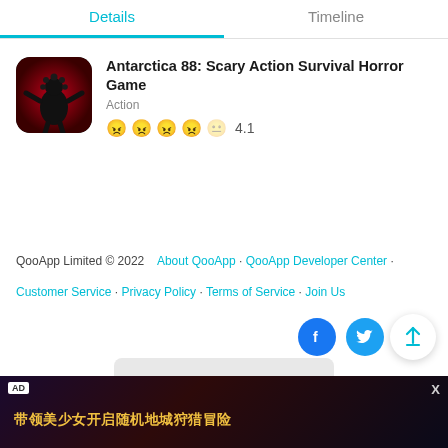Details | Timeline
Antarctica 88: Scary Action Survival Horror Game
Action
4.1
QooApp Limited © 2022   About QooApp · QooApp Developer Center · Customer Service · Privacy Policy · Terms of Service · Join Us
AD 带领美少女开启随机地城狩猎冒险